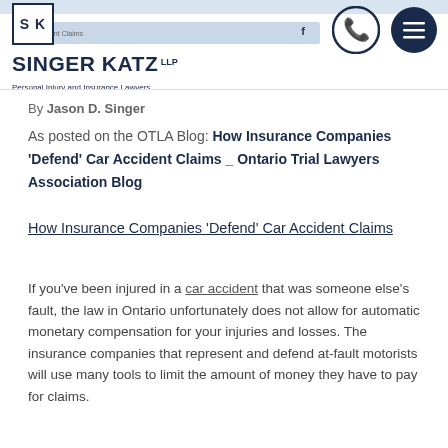Singer Katz LLP — Personal Injury and Insurance Lawyers
By Jason D. Singer
As posted on the OTLA Blog: How Insurance Companies ‘Defend’ Car Accident Claims _ Ontario Trial Lawyers Association Blog
How Insurance Companies ‘Defend’ Car Accident Claims
If you’ve been injured in a car accident that was someone else’s fault, the law in Ontario unfortunately does not allow for automatic monetary compensation for your injuries and losses. The insurance companies that represent and defend at-fault motorists will use many tools to limit the amount of money they have to pay for claims.